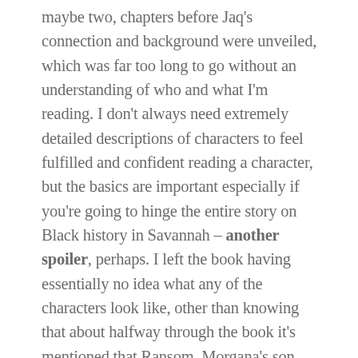maybe two, chapters before Jaq's connection and background were unveiled, which was far too long to go without an understanding of who and what I'm reading. I don't always need extremely detailed descriptions of characters to feel fulfilled and confident reading a character, but the basics are important especially if you're going to hinge the entire story on Black history in Savannah – another spoiler, perhaps. I left the book having essentially no idea what any of the characters look like, other than knowing that about halfway through the book it's mentioned that Ransom, Morgana's son, has a beard. At that point I was so baffled about what he may or may not look like that the beard fully threw me off and I gave up trying to discern anything about it. Turns out I didn't need to, as he went the way of Morgana, a central figure in the beginning of the novel who fizzled out about halfway through the book.